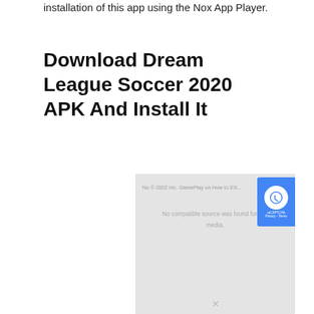installation of this app using the Nox App Player.
Download Dream League Soccer 2020 APK And Install It
[Figure (screenshot): Video player placeholder showing 'No compatible source was found for this media.' message with a gray background and an X close button at the bottom. A reCAPTCHA badge is partially visible on the right.]